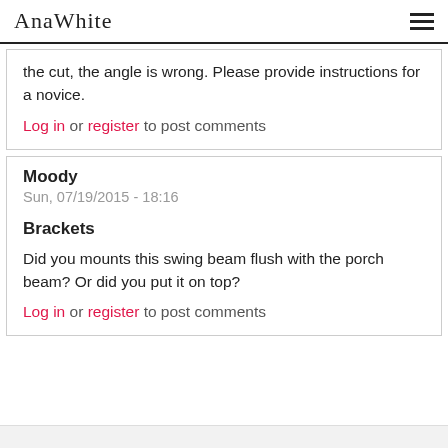AnaWhite
the cut, the angle is wrong. Please provide instructions for a novice.
Log in or register to post comments
Moody
Sun, 07/19/2015 - 18:16
Brackets
Did you mounts this swing beam flush with the porch beam? Or did you put it on top?
Log in or register to post comments